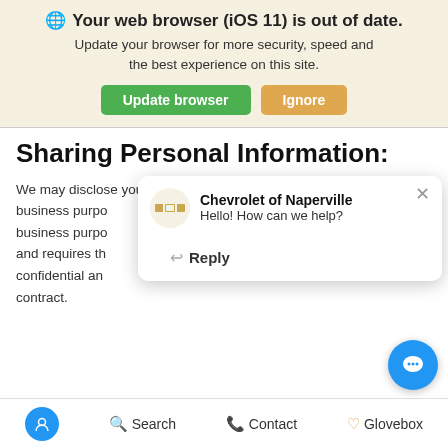[Figure (screenshot): Browser update warning banner with globe icon, bold text 'Your web browser (iOS 11) is out of date.', subtitle text, and two buttons: green 'Update browser' and orange 'Ignore']
Sharing Personal Information:
We may disclose your personal information to a third party for a business purpo... business purpo... and requires th... confidential an... contract.
[Figure (screenshot): Chevrolet of Naperville chat popup with logo, heading 'Chevrolet of Naperville', message 'Hello! How can we help?', and a Reply button]
In the preceding... following categories of personal information for a business purpose:
A. Identifiers
Accessibility  Search  Contact  Glovebox